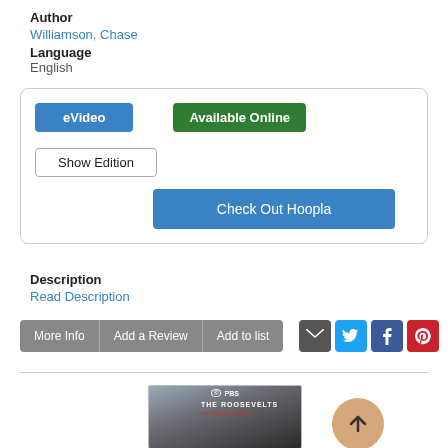Author
Williamson, Chase
Language
English
eVideo | Available Online | Show Edition | Check Out Hoopla
Description
Read Description
More Info | Add a Review | Add to list
[Figure (screenshot): Book cover for The Roosevelts: An Intimate History, PBS documentary]
[Figure (other): Scroll to top button (up arrow circle)]